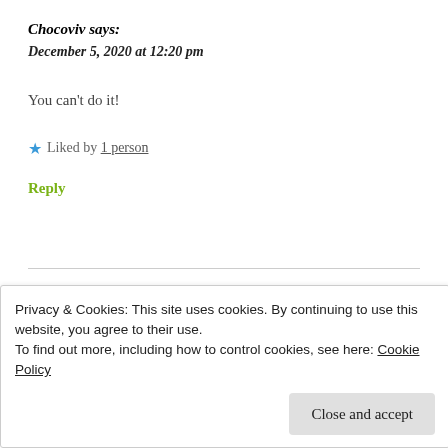Chocoviv says:
December 5, 2020 at 12:20 pm
You can't do it!
★ Liked by 1 person
Reply
bharatijavalkar says:
Privacy & Cookies: This site uses cookies. By continuing to use this website, you agree to their use.
To find out more, including how to control cookies, see here: Cookie Policy
Close and accept